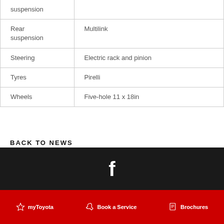| Feature | Value |
| --- | --- |
| suspension |  |
| Rear suspension | Multilink |
| Steering | Electric rack and pinion |
| Tyres | Pirelli |
| Wheels | Five-hole 11 x 18in |
BACK TO NEWS
[Figure (logo): Facebook icon (white 'f' on dark background)]
myToyota   Book a Service   Brochures